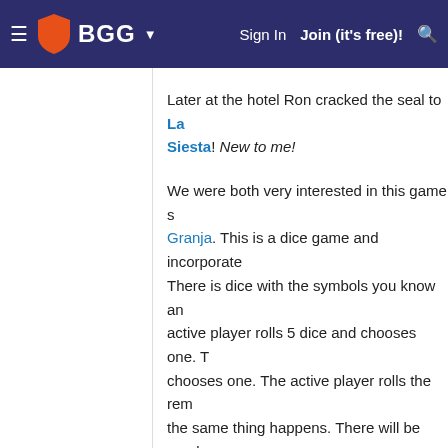BGG — Sign In  Join (it's free)!
Later at the hotel Ron cracked the seal to La Siesta! New to me!
We were both very interested in this game s... Granja. This is a dice game and incorporate... There is dice with the symbols you know an... active player rolls 5 dice and chooses one. T... chooses one. The active player rolls the rem... the same thing happens. There will be one b... player to use. With discs you are marking th... you don't have discs then you can't take it. T... you want to use you can mark off in your sc... lot of different paths to take for scoring, but... someone completes the siesta track. If you ... you advance on the track. Each space on th... on this track you might advance and gain a... powerful and likely always a first choice whe...